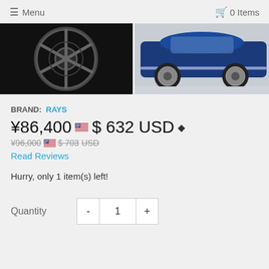☰ Menu   🛒 0 Items
[Figure (photo): Close-up of a dark gray multi-spoke performance wheel on black background]
[Figure (photo): Blue car with chrome performance wheels on white background]
BRAND: RAYS
¥86,400 $ 632 USD
¥96,000 $ 703 USD (original, crossed out)
Read Reviews
Hurry, only 1 item(s) left!
Quantity  -  1  +